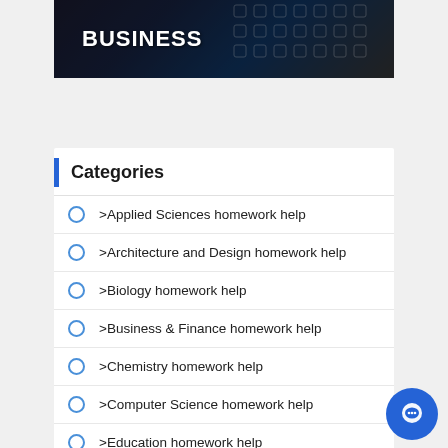[Figure (photo): Dark background image of a hand pointing with text 'BUSINESS' in white bold letters over a digital interface background]
Categories
>Applied Sciences homework help
>Architecture and Design homework help
>Biology homework help
>Business & Finance homework help
>Chemistry homework help
>Computer Science homework help
>Education homework help